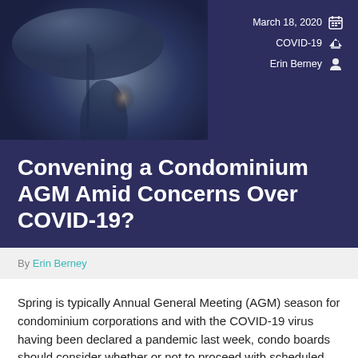[Figure (photo): Dark blue banner with a blurred photo of a person holding an umbrella in the upper left portion, overlaid with metadata on the right]
March 18, 2020 | COVID-19 | Erin Berney
Convening a Condominium AGM Amid Concerns Over COVID-19?
By Erin Berney
Spring is typically Annual General Meeting (AGM) season for condominium corporations and with the COVID-19 virus having been declared a pandemic last week, condo boards should consider whether or not to proceed with scheduled AGMs. For many condo